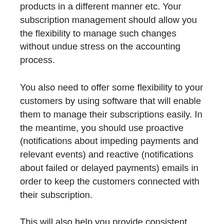products in a different manner etc. Your subscription management should allow you the flexibility to manage such changes without undue stress on the accounting process.
You also need to offer some flexibility to your customers by using software that will enable them to manage their subscriptions easily. In the meantime, you should use proactive (notifications about impeding payments and relevant events) and reactive (notifications about failed or delayed payments) emails in order to keep the customers connected with their subscription.
This will also help you provide consistent customer experience regardless of the number of customers you have. Automated solutions can help you stay in touch with people, thus reducing the number of dropped subscriptions.